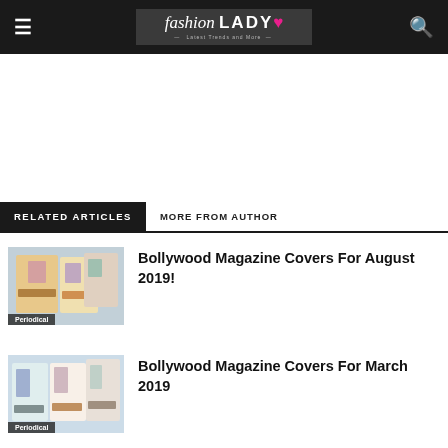fashion LADY ♥ — Latest Trends and More —
RELATED ARTICLES   MORE FROM AUTHOR
[Figure (photo): Thumbnail image of Bollywood magazine covers for August 2019 with label 'Periodical']
Bollywood Magazine Covers For August 2019!
[Figure (photo): Thumbnail image of Bollywood magazine covers for March 2019 with label 'Periodical']
Bollywood Magazine Covers For March 2019